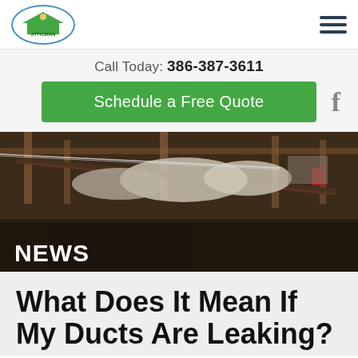ATTICMAN logo and hamburger menu navigation
Call Today: 386-387-3611
Schedule a Free Quote
[Figure (photo): Interior attic photo showing wooden beams, ducts, and insulation batts visible, with 'NEWS' text overlay in white at bottom left]
What Does It Mean If My Ducts Are Leaking?